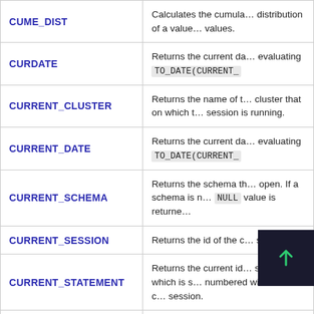| Function | Description |
| --- | --- |
| CUME_DIST | Calculates the cumulative distribution of a value within a group of values. |
| CURDATE | Returns the current date by evaluating TO_DATE(CURRENT_... |
| CURRENT_CLUSTER | Returns the name of the cluster that on which the session is running. |
| CURRENT_DATE | Returns the current date by evaluating TO_DATE(CURRENT_... |
| CURRENT_SCHEMA | Returns the schema that is open. If a schema is not open, NULL value is returned. |
| CURRENT_SESSION | Returns the id of the current session. |
| CURRENT_STATEMENT | Returns the current id of statements which is sequentially numbered within the current session. |
| CURRENT_TIMESTAMP | Returns the current timestamp interpreted in the current time zone. |
| CURRENT_USER | ... |